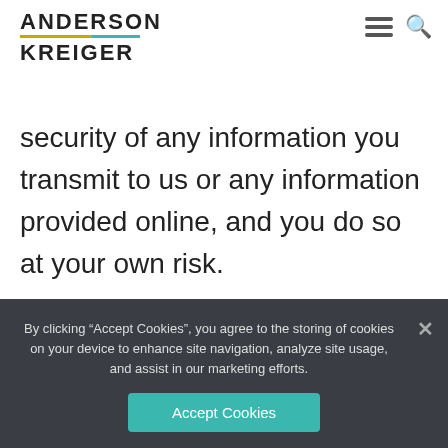ANDERSON KREIGER
website. We strive to protect your personal information, but we cannot ensure or warrant the security of any information you transmit to us or any information provided online, and you do so at your own risk.
We do not share your information with any third parties without your consent except as follows: 1) where such disclosure is necessary to comply with the law or a request from a governmental authority
By clicking “Accept Cookies”, you agree to the storing of cookies on your device to enhance site navigation, analyze site usage, and assist in our marketing efforts.